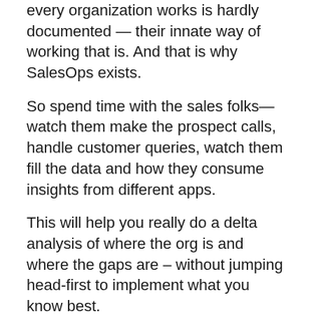every organization works is hardly documented — their innate way of working that is. And that is why SalesOps exists.
So spend time with the sales folks—watch them make the prospect calls, handle customer queries, watch them fill the data and how they consume insights from different apps.
This will help you really do a delta analysis of where the org is and where the gaps are – without jumping head-first to implement what you know best.
In no two organizations I have worked—has SalesOps done the same things. While the core job has similarities—no one ever hands you a job description saying:
"This is what you ought to..."